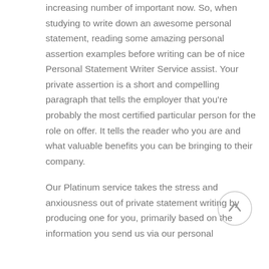increasing number of important now. So, when studying to write down an awesome personal statement, reading some amazing personal assertion examples before writing can be of nice Personal Statement Writer Service assist. Your private assertion is a short and compelling paragraph that tells the employer that you're probably the most certified particular person for the role on offer. It tells the reader who you are and what valuable benefits you can be bringing to their company.
Our Platinum service takes the stress and anxiousness out of private statement writing by producing one for you, primarily based on the information you send us via our personal